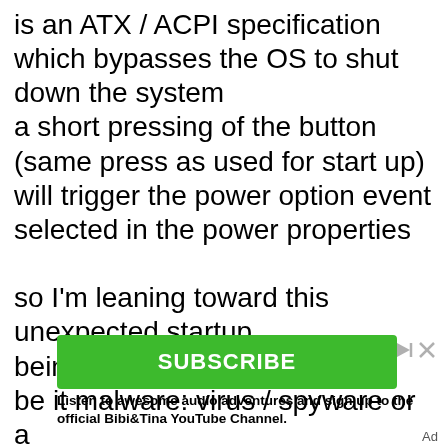is an ATX / ACPI specification which bypasses the OS to shut down the system a short pressing of the button (same press as used for start up) will trigger the power option event selected in the power properties

so I'm leaning toward this unexpected startup being a software problem be it malware: virus / spyware or a
[Figure (other): Green SUBSCRIBE button advertisement for Bibi&Tina YouTube Channel with play/close icons]
Listen to awesome audio adventures and sign up to the official Bibi&Tina YouTube Channel.
Ad